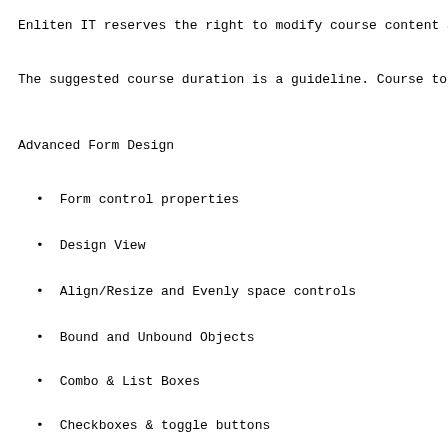Enliten IT reserves the right to modify course content an
The suggested course duration is a guideline. Course topi
Advanced Form Design
Form control properties
Design View
Align/Resize and Evenly space controls
Bound and Unbound Objects
Combo & List Boxes
Checkboxes & toggle buttons